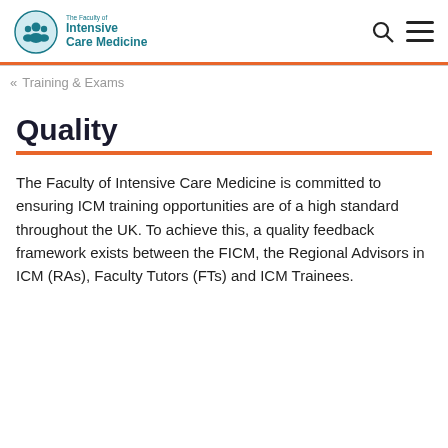The Faculty of Intensive Care Medicine
« Training & Exams
Quality
The Faculty of Intensive Care Medicine is committed to ensuring ICM training opportunities are of a high standard throughout the UK. To achieve this, a quality feedback framework exists between the FICM, the Regional Advisors in ICM (RAs), Faculty Tutors (FTs) and ICM Trainees.